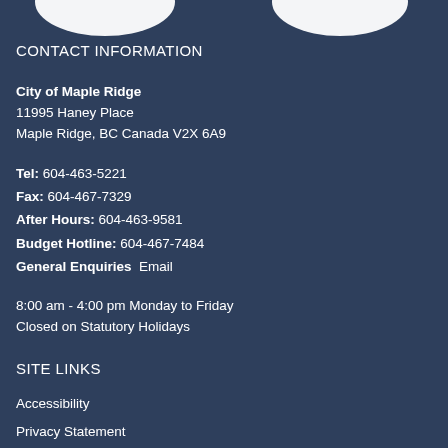[Figure (logo): City of Maple Ridge logo (partial white shapes visible at top)]
CONTACT INFORMATION
City of Maple Ridge
11995 Haney Place
Maple Ridge, BC Canada V2X 6A9
Tel: 604-463-5221
Fax: 604-467-7329
After Hours: 604-463-9581
Budget Hotline: 604-467-7484
General Enquiries Email
8:00 am - 4:00 pm Monday to Friday
Closed on Statutory Holidays
SITE LINKS
Accessibility
Privacy Statement